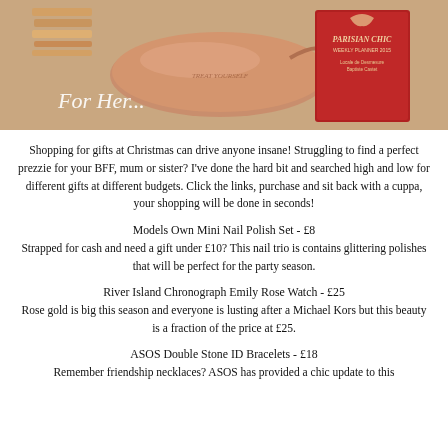[Figure (photo): A gift guide banner image showing a rose gold metallic clutch bag with 'Treat Yourself' text, stacked bracelets/watches top left, and a red Parisian Chic diary/planner on the right, on a warm beige background with cursive text 'For Her...' in white.]
Shopping for gifts at Christmas can drive anyone insane! Struggling to find a perfect prezzie for your BFF, mum or sister? I've done the hard bit and searched high and low for different gifts at different budgets. Click the links, purchase and sit back with a cuppa, your shopping will be done in seconds!
Models Own Mini Nail Polish Set - £8
Strapped for cash and need a gift under £10? This nail trio is contains glittering polishes that will be perfect for the party season.
River Island Chronograph Emily Rose Watch - £25
Rose gold is big this season and everyone is lusting after a Michael Kors but this beauty is a fraction of the price at £25.
ASOS Double Stone ID Bracelets - £18
Remember friendship necklaces? ASOS has provided a chic update to this